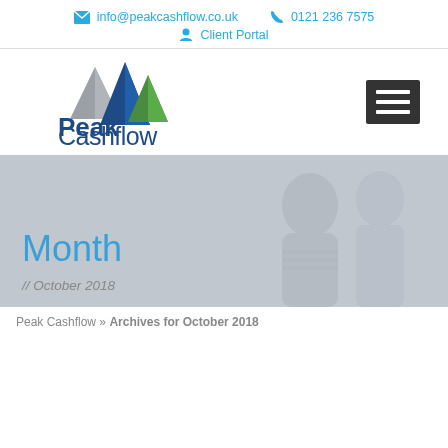info@peakcashflow.co.uk   0121 236 7575   Client Portal
[Figure (logo): Peak Cashflow logo with mountain peaks in grey, blue, and green colors, with text 'Peak Cashflow' in dark navy blue]
Month
// October 2018
Peak Cashflow » Archives for October 2018